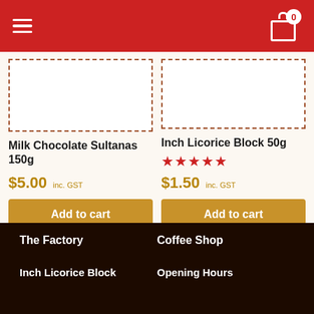Navigation header with hamburger menu and cart icon showing 0 items
[Figure (other): Product image placeholder with dashed border for Milk Chocolate Sultanas 150g]
Milk Chocolate Sultanas 150g
$5.00 inc. GST
[Figure (other): Product image placeholder with dashed border for Inch Licorice Block 50g]
Inch Licorice Block 50g
★★★★★ $1.50 inc. GST
The Factory
Coffee Shop
Inch Licorice Block
Opening Hours